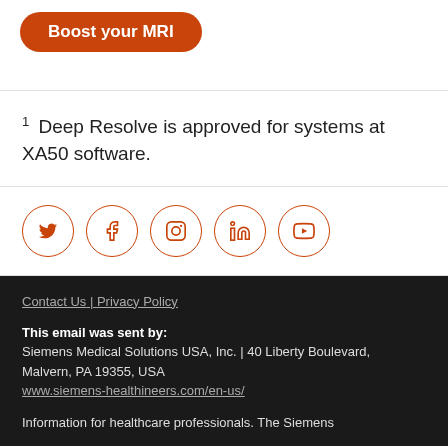[Figure (other): Orange rounded button with white bold text 'Boost your MRI']
1 Deep Resolve is approved for systems at XA50 software.
[Figure (other): Row of five circular social media icons (Twitter, Facebook, Instagram, LinkedIn, YouTube) with orange outline and orange icons]
Contact Us | Privacy Policy
This email was sent by: Siemens Medical Solutions USA, Inc. | 40 Liberty Boulevard, Malvern, PA 19355, USA
www.siemens-healthineers.com/en-us/
Information for healthcare professionals. The Siemens